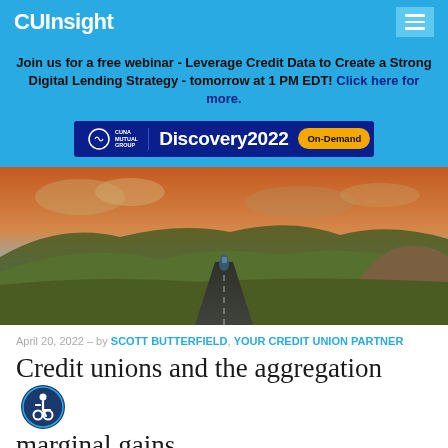CUInsight
Join us for a free webinar - Leverage Credit Data to Create a Strong Digital Lending Strategy - tomorrow at 1 PM EDT! Click here for more.
[Figure (logo): CUNA Mutual Group Discovery2022 On-Demand banner advertisement]
[Figure (photo): Person cycling on a road through green hilly landscape with dramatic sky]
April 20, 2022 – by SCOTT BUTTERFIELD, YOUR CREDIT UNION PARTNER
Credit unions and the aggregation of marginal gains